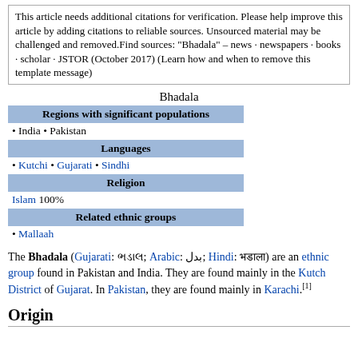This article needs additional citations for verification. Please help improve this article by adding citations to reliable sources. Unsourced material may be challenged and removed.Find sources: "Bhadala" – news · newspapers · books · scholar · JSTOR (October 2017) (Learn how and when to remove this template message)
Bhadala
| Regions with significant populations |
| • India • Pakistan |
| Languages |
| • Kutchi • Gujarati • Sindhi |
| Religion |
| Islam 100% |
| Related ethnic groups |
| • Mallaah |
The Bhadala (Gujarati: ભડાલ; Arabic: بدل; Hindi: भडाला) are an ethnic group found in Pakistan and India. They are found mainly in the Kutch District of Gujarat. In Pakistan, they are found mainly in Karachi.[1]
Origin